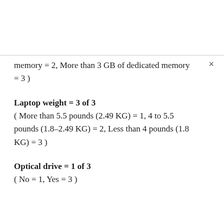memory = 2, More than 3 GB of dedicated memory = 3 )
Laptop weight = 3 of 3
( More than 5.5 pounds (2.49 KG) = 1, 4 to 5.5 pounds (1.8–2.49 KG) = 2, Less than 4 pounds (1.8 KG) = 3 )
Optical drive = 1 of 3
( No = 1, Yes = 3 )